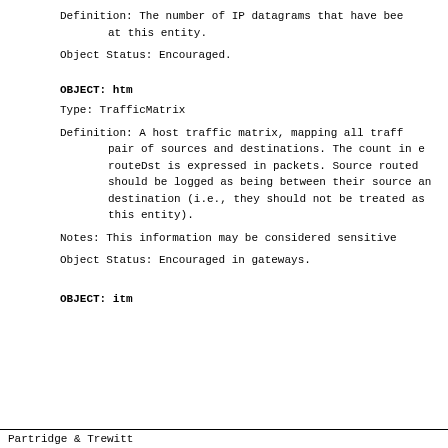Definition:  The number of IP datagrams that have bee at this entity.
Object Status:  Encouraged.
OBJECT:  htm
Type:  TrafficMatrix
Definition:  A host traffic matrix, mapping all traff pair of sources and destinations.  The count in e routeDst is expressed in packets.  Source routed should be logged as being between their source an destination (i.e., they should not be treated as this entity).
Notes:  This information may be considered sensitive
Object Status:  Encouraged in gateways.
OBJECT:  itm
Partridge & Trewitt